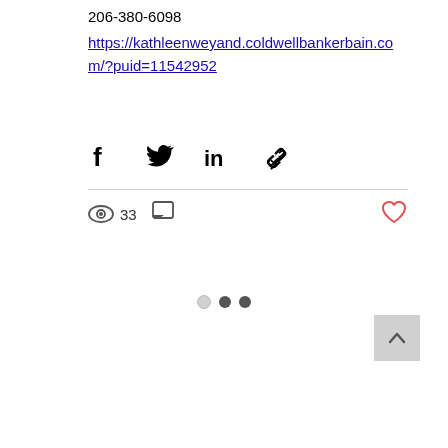206-380-6098
https://kathleenweyand.coldwellbankerbain.com/?puid=11542952
[Figure (infographic): Social share icons: Facebook, Twitter, LinkedIn, and a link/chain icon]
[Figure (infographic): View count: eye icon with 33, comment bubble icon, and a heart/like icon (red outline)]
[Figure (infographic): Pagination dots: one light/empty dot, one dark filled dot, one dark filled dot]
[Figure (infographic): Back to top button: light gray square with upward chevron arrow]